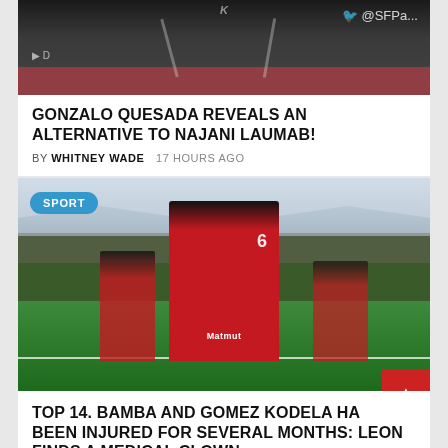[Figure (photo): A person in a dark jersey at a press conference, social media logos visible, pink/red banner at bottom]
GONZALO QUESADA REVEALS AN ALTERNATIVE TO NAJANI LAUMAB!
BY WHITNEY WADE   17 HOURS AGO
[Figure (photo): Rugby player in red and black jersey celebrating on a rugby pitch at a stadium, making gesture with hands, SPORT badge visible top left]
TOP 14. BAMBA AND GOMEZ KODELA HAVE BEEN INJURED FOR SEVERAL MONTHS: LEON FINDS A MEDICAL CLOWN